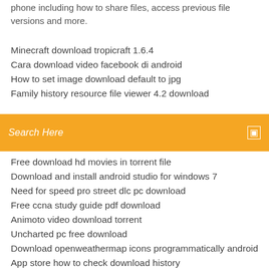phone including how to share files, access previous file versions and more.
Minecraft download tropicraft 1.6.4
Cara download video facebook di android
How to set image download default to jpg
Family history resource file viewer 4.2 download
Search Here
Free download hd movies in torrent file
Download and install android studio for windows 7
Need for speed pro street dlc pc download
Free ccna study guide pdf download
Animoto video download torrent
Uncharted pc free download
Download openweathermap icons programmatically android
App store how to check download history
Bbg 1.0 pdf free download